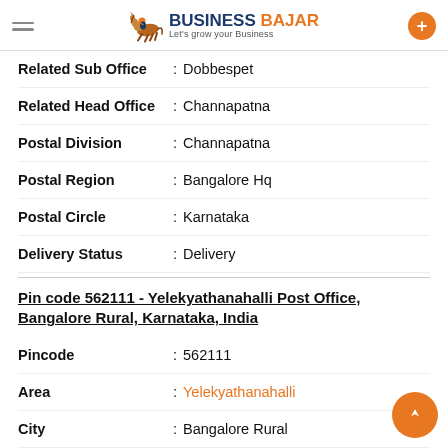Business Bajar - Let's grow your Business
Related Sub Office : Dobbespet
Related Head Office : Channapatna
Postal Division : Channapatna
Postal Region : Bangalore Hq
Postal Circle : Karnataka
Delivery Status : Delivery
Pin code 562111 - Yelekyathanahalli Post Office, Bangalore Rural, Karnataka, India
Pincode : 562111
Area : Yelekyathanahalli
City : Bangalore Rural
State : Karnataka